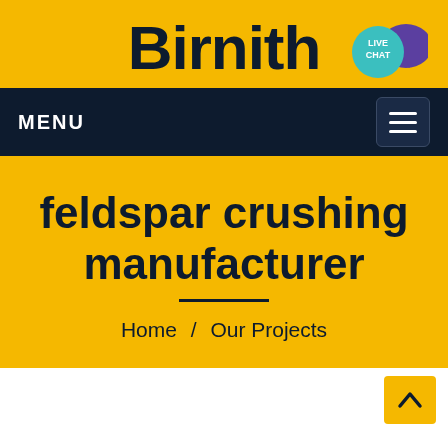Birnith
[Figure (other): Live chat speech bubble icon with teal circle labeled LIVE CHAT and purple speech bubble]
MENU
[Figure (other): Hamburger menu button (three horizontal white lines on dark navy background)]
feldspar crushing manufacturer
Home / Our Projects
[Figure (other): Back to top arrow button in yellow/gold color]